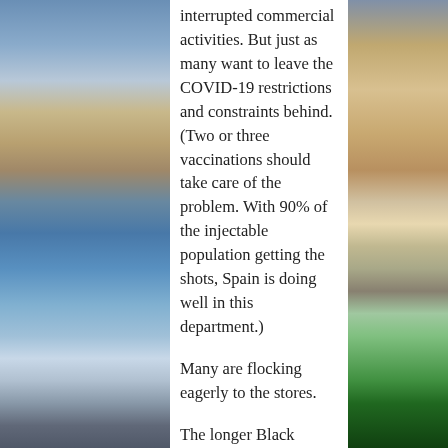[Figure (photo): Background photos: left side shows a Spanish city square with fountains and classical buildings (Madrid plaza), right side shows illuminated classical building at night and green park area.]
interrupted commercial activities. But just as many want to leave the COVID-19 restrictions and constraints behind. (Two or three vaccinations should take care of the problem. With 90% of the injectable population getting the shots, Spain is doing well in this department.)
Many are flocking eagerly to the stores.
The longer Black Friday lasts, the better for the establishments that have suffered from the brutal lockdowns which on the other hand were necessary to contain the pandemic. Whether or not the shoppers' billfolds could stand the extension is another